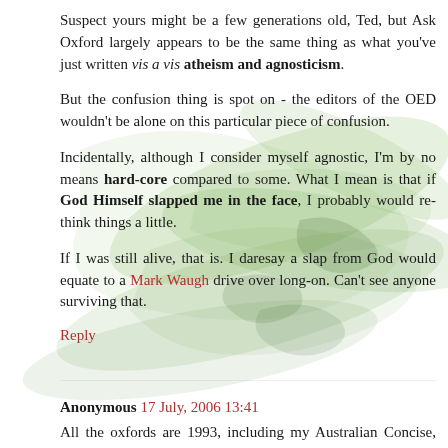Suspect yours might be a few generations old, Ted, but Ask Oxford largely appears to be the same thing as what you've just written vis a vis atheism and agnosticism.
But the confusion thing is spot on - the editors of the OED wouldn't be alone on this particular piece of confusion.
Incidentally, although I consider myself agnostic, I'm by no means hard-core compared to some. What I mean is that if God Himself slapped me in the face, I probably would re-think things a little.
If I was still alive, that is. I daresay a slap from God would equate to a Mark Waugh drive over long-on. Can't see anyone surviving that.
Reply
Anonymous 17 July, 2006 13:41
All the oxfords are 1993, including my Australian Concise, which I didn't mention. It's probably time I updated I 'sopse.